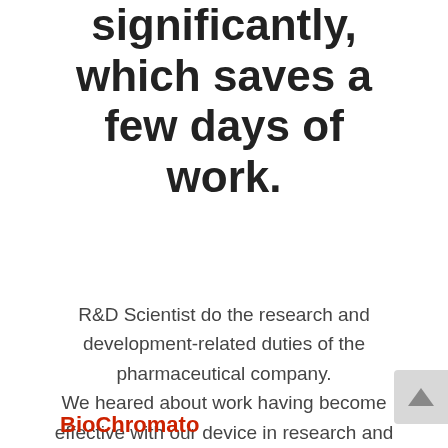processing time significantly, which saves a few days of work.
R&D Scientist do the research and development-related duties of the pharmaceutical company. We heared about work having become effective with our device in research and development. ❮Researcher❯R&D Scientist in a pharmaceutical company.❯
BioChromato